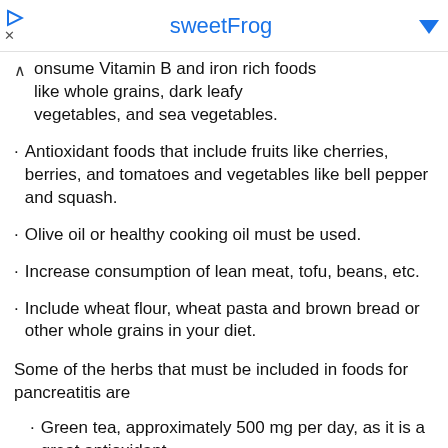sweetFrog
onsume Vitamin B and iron rich foods like whole grains, dark leafy vegetables, and sea vegetables.
Antioxidant foods that include fruits like cherries, berries, and tomatoes and vegetables like bell pepper and squash.
Olive oil or healthy cooking oil must be used.
Increase consumption of lean meat, tofu, beans, etc.
Include wheat flour, wheat pasta and brown bread or other whole grains in your diet.
Some of the herbs that must be included in foods for pancreatitis are
Green tea, approximately 500 mg per day, as it is a great antioxidant.